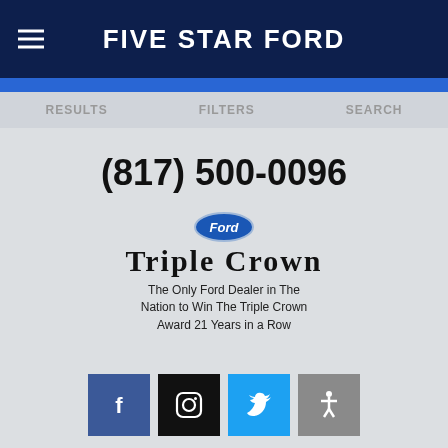FIVE STAR FORD
RESULTS   FILTERS   SEARCH
(817) 500-0096
[Figure (logo): Ford Triple Crown logo with Ford oval badge above and text 'Triple Crown. The Only Ford Dealer in The Nation to Win The Triple Crown Award 21 Years in a Row']
[Figure (infographic): Row of four social media icon buttons: Facebook (blue), Instagram (black), Twitter (blue), Accessibility (gray)]
Chat Live
Text Us
Wrench icon, Map pin icon, Phone icon, Accessibility icon